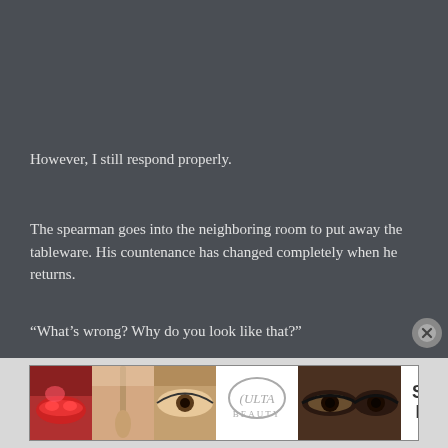However, I still respond properly.
The spearman goes into the neighboring room to put away the tableware. His countenance has changed completely when he returns.
“What’s wrong? Why do you look like that?”
[Figure (photo): Ulta Beauty advertisement banner showing close-up beauty photos (lips with lipstick, makeup brush, eye with eyeshadow, Ulta Beauty logo, another eye close-up) with SHOP NOW text on white background.]